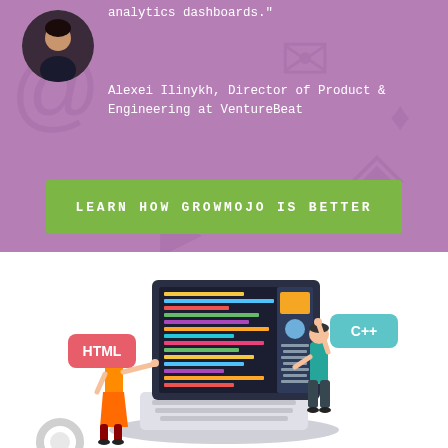[Figure (photo): Circular avatar photo of a man against a dark background, positioned top-left of the purple section]
analytics dashboards."
Alexei Ilinykh, Director of Product & Engineering at VentureBeat
LEARN HOW GROWMOJO IS BETTER
[Figure (illustration): Isometric illustration of a developer/coder scene: a laptop with colorful code on screen, a woman in orange pointing at the screen, a man in teal working on the display, with HTML and C++ tags floating around the laptop]